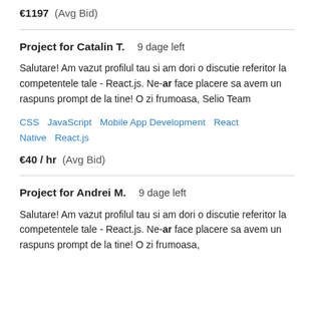€1197  (Avg Bid)
Project for Catalin T.  9 dage left
Salutare! Am vazut profilul tau si am dori o discutie referitor la competentele tale - React.js. Ne-ar face placere sa avem un raspuns prompt de la tine! O zi frumoasa, Selio Team
CSS   JavaScript   Mobile App Development   React Native   React.js
€40 / hr  (Avg Bid)
Project for Andrei M.  9 dage left
Salutare! Am vazut profilul tau si am dori o discutie referitor la competentele tale - React.js. Ne-ar face placere sa avem un raspuns prompt de la tine! O zi frumoasa,